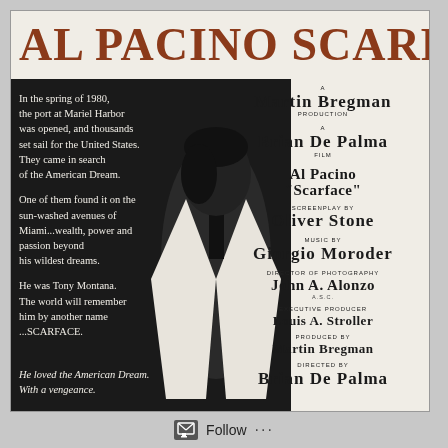AL PACINO SCARFACE
[Figure (illustration): Scarface movie poster with Al Pacino in white suit against black background, half in shadow]
In the spring of 1980, the port at Mariel Harbor was opened, and thousands set sail for the United States. They came in search of the American Dream.

One of them found it on the sun-washed avenues of Miami...wealth, power and passion beyond his wildest dreams.

He was Tony Montana. The world will remember him by another name ...SCARFACE.
A MARTIN BREGMAN PRODUCTION
A BRIAN DE PALMA FILM
AL PACINO "SCARFACE"
SCREENPLAY BY OLIVER STONE
MUSIC BY GIORGIO MORODER
DIRECTOR OF PHOTOGRAPHY JOHN A. ALONZO A.S.C.
EXECUTIVE PRODUCER LOUIS A. STROLLER
PRODUCED BY MARTIN BREGMAN
DIRECTED BY BRIAN DE PALMA
He loved the American Dream. With a vengeance.